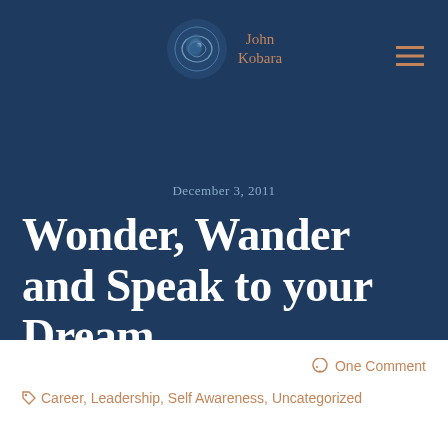John Kobara
December 3, 2011
Wonder, Wander and Speak to your Dream
One Comment
Career, Leadership, Self Awareness, Uncategorized